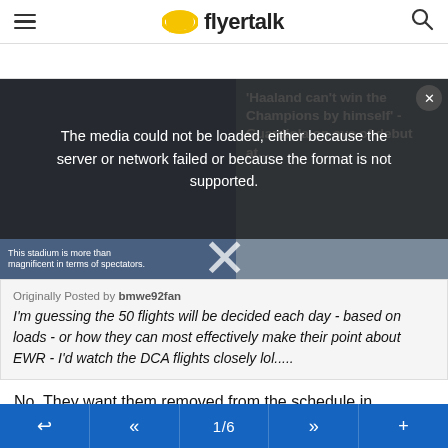flyertalk
[Figure (screenshot): Video player with media error overlay. Left side shows a video thumbnail of a press conference scene with text 'This stadium is more than magnificent in terms of spectators.' Right side shows a news card with text: 'Haaland can't win the Champions by himself - Guardiola on eve of debut at...' An error overlay reads: 'The media could not be loaded, either because the server or network failed or because the format is not supported.' A large X close button is visible.]
Originally Posted by bmwe92fan
I'm guessing the 50 flights will be decided each day - based on loads - or how they can most effectively make their point about EWR - I'd watch the DCA flights closely lol.....
No. They want them removed from the schedule in advance so that they don't count against their completion statistics. They'll be pushed through in this weekend's update
← « 1/6 » +